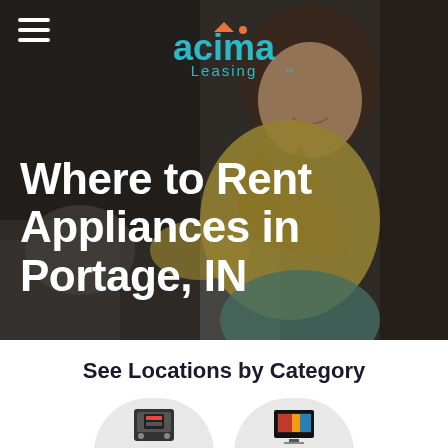[Figure (photo): Hero banner with Acima Leasing logo, hamburger menu icon, and a woman in a yellow sweater sitting on a sofa smiling, with dark overlay. Large white bold text reads 'Where to Rent Appliances in Portage, IN'.]
Where to Rent Appliances in Portage, IN
See Locations by Category
[Figure (illustration): Appliances category icon — small oven/appliance icon inside a light grey circle with the label 'Appliances' below]
[Figure (illustration): Electronics category icon — small TV/electronics icon inside a light grey circle with the label 'Electronics' below]